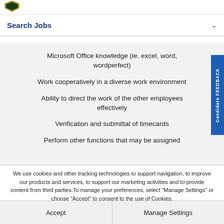[Figure (logo): Shield/badge logo in gold and dark colors at top left]
Search Jobs
Microsoft Office knowledge (ie. excel, word, wordperfect)
Work cooperatively in a diverse work environment
Ability to direct the work of the other employees effectively
Verification and submittal of timecards
Perform other functions that may be assigned
We use cookies and other tracking technologies to support navigation, to improve our products and services, to support our marketing activities and to provide content from third parties. To manage your preferences, select "Manage Settings" or choose "Accept" to consent to the use of Cookies.